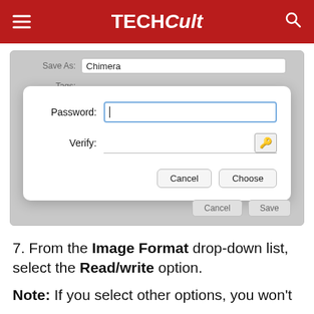TECHCult
[Figure (screenshot): macOS save dialog with a password protection overlay. The background shows a 'Save As: Chimera' and 'Tags:' panel. Overlaid is a white dialog with 'Password:' text field (blue border, active), 'Verify:' field with key button, and Cancel/Choose buttons. The outer dialog also has Cancel and Save buttons.]
7. From the Image Format drop-down list, select the Read/write option.
Note: If you select other options, you won't